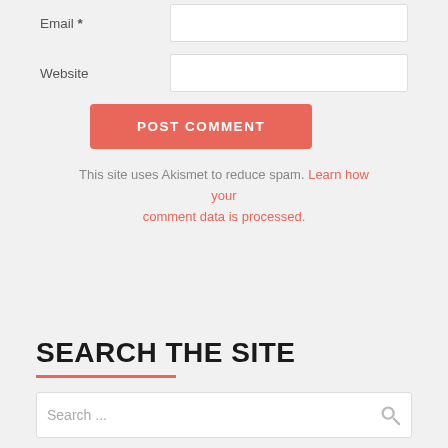Email *
Website
POST COMMENT
This site uses Akismet to reduce spam. Learn how your comment data is processed.
SEARCH THE SITE
Search ...